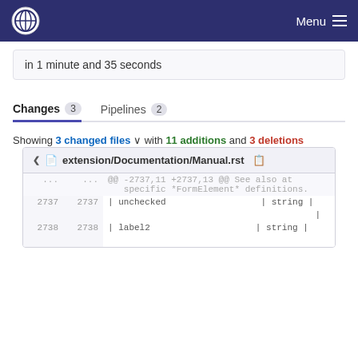Menu
in 1 minute and 35 seconds
Changes 3   Pipelines 2
Showing 3 changed files with 11 additions and 3 deletions
| old | new | code |
| --- | --- | --- |
| ... | ... | @@ -2737,11 +2737,13 @@ See also at specific *FormElement* definitions. |
| 2737 | 2737 | | unchecked                        | string | |
|  |  | | |
| 2738 | 2738 | | label2                           | string | |